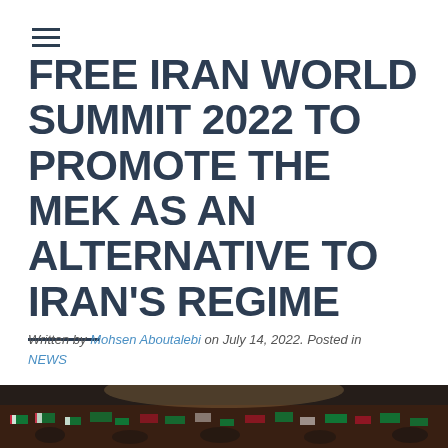≡
FREE IRAN WORLD SUMMIT 2022 TO PROMOTE THE MEK AS AN ALTERNATIVE TO IRAN'S REGIME
Written by Mohsen Aboutalebi on July 14, 2022. Posted in NEWS
[Figure (photo): Large crowd of people waving Iranian flags at a rally or summit event, viewed from above, with a colorful crowd filling the frame.]